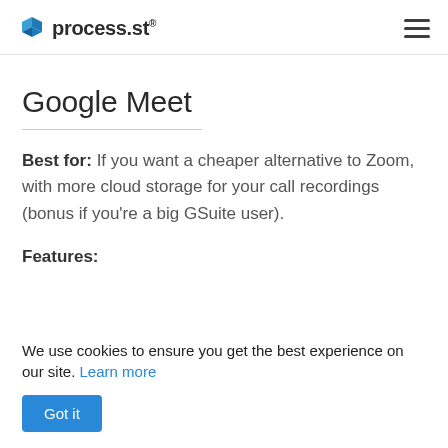process.st
Google Meet
Best for: If you want a cheaper alternative to Zoom, with more cloud storage for your call recordings (bonus if you're a big GSuite user).
Features:
We use cookies to ensure you get the best experience on our site. Learn more